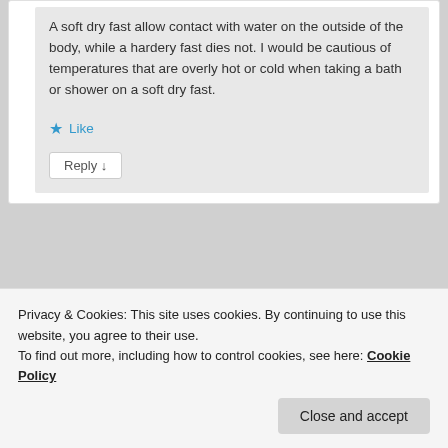A soft dry fast allow contact with water on the outside of the body, while a hardery fast dies not. I would be cautious of temperatures that are overly hot or cold when taking a bath or shower on a soft dry fast.
★ Like
Reply ↓
[Figure (screenshot): Partial second comment block with avatar placeholder]
Privacy & Cookies: This site uses cookies. By continuing to use this website, you agree to their use.
To find out more, including how to control cookies, see here: Cookie Policy
Close and accept